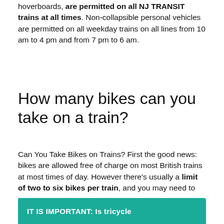hoverboards, are permitted on all NJ TRANSIT trains at all times. Non-collapsible personal vehicles are permitted on all weekday trains on all lines from 10 am to 4 pm and from 7 pm to 6 am.
How many bikes can you take on a train?
Can You Take Bikes on Trains? First the good news: bikes are allowed free of charge on most British trains at most times of day. However there's usually a limit of two to six bikes per train, and you may need to reserve a space.
IT IS IMPORTANT: Is tricycle